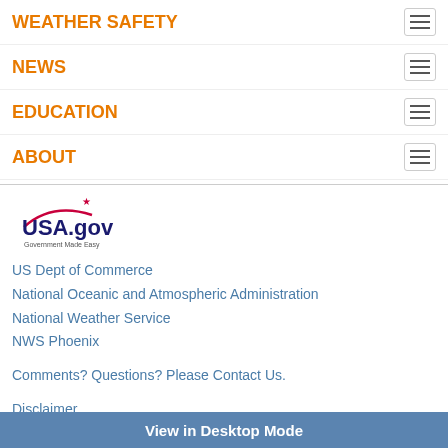WEATHER SAFETY
NEWS
EDUCATION
ABOUT
[Figure (logo): USA.gov - Government Made Easy logo]
US Dept of Commerce
National Oceanic and Atmospheric Administration
National Weather Service
NWS Phoenix
Comments? Questions? Please Contact Us.
Disclaimer
Information Quality
Help
Glossary
Privacy Policy
Freedom of Information Act (FOIA)
About Us
Career Opportunities
View in Desktop Mode